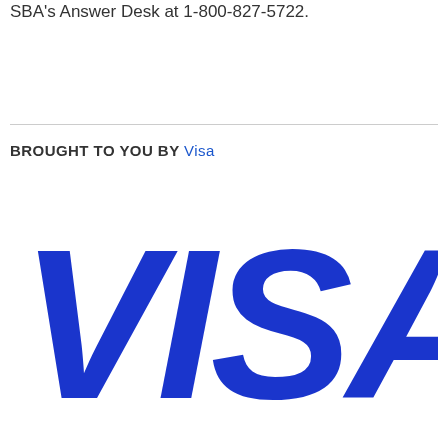SBA's Answer Desk at 1-800-827-5722.
BROUGHT TO YOU BY Visa
[Figure (logo): Visa logo in large bold blue italic text on white background]